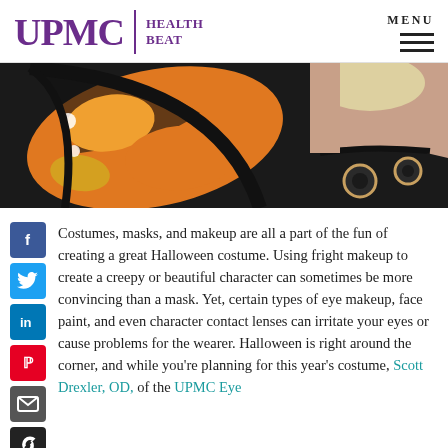UPMC | HEALTH BEAT
[Figure (photo): Child dressed in a monarch butterfly Halloween costume with orange and black wings, viewed from behind/side with blonde hair visible]
Costumes, masks, and makeup are all a part of the fun of creating a great Halloween costume. Using fright makeup to create a creepy or beautiful character can sometimes be more convincing than a mask. Yet, certain types of eye makeup, face paint, and even character contact lenses can irritate your eyes or cause problems for the wearer. Halloween is right around the corner, and while you're planning for this year's costume, Scott Drexler, OD, of the UPMC Eye